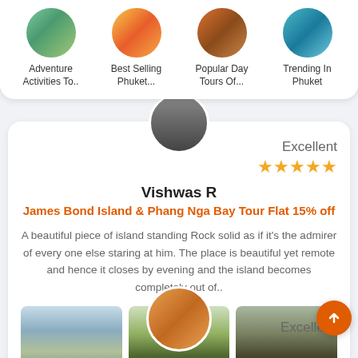[Figure (illustration): Navigation category: Adventure Activities To.. with circular photo of green landscape]
[Figure (illustration): Navigation category: Best Selling Phuket... with circular photo of colorful water activity]
[Figure (illustration): Navigation category: Popular Day Tours Of... with circular photo of group tour]
[Figure (illustration): Navigation category: Trending In Phuket with circular photo of boat tour]
Excellent
[Figure (illustration): Five orange star rating]
Vishwas R
James Bond Island & Phang Nga Bay Tour Flat 15% off
A beautiful piece of island standing Rock solid as if it's the admirer of every one else staring at him. The place is beautiful yet remote and hence it closes by evening and the island becomes completely out of..
[Figure (photo): Three travel photos: James Bond Island rock formation, wooden temple gate, cave entrance]
Excellent